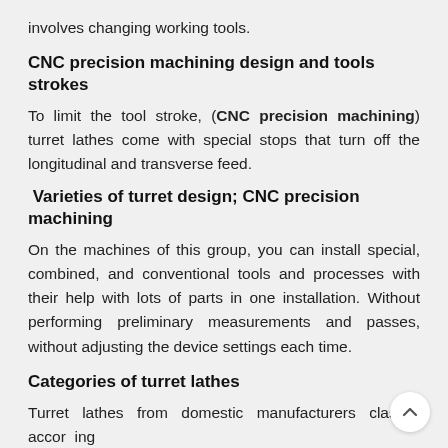involves changing working tools.
CNC precision machining design and tools strokes
To limit the tool stroke, (CNC precision machining) turret lathes come with special stops that turn off the longitudinal and transverse feed.
Varieties of turret design; CNC precision machining
On the machines of this group, you can install special, combined, and conventional tools and processes with their help with lots of parts in one installation. Without performing preliminary measurements and passes, without adjusting the device settings each time.
Categories of turret lathes
Turret lathes from domestic manufacturers classify according to two main parameters.